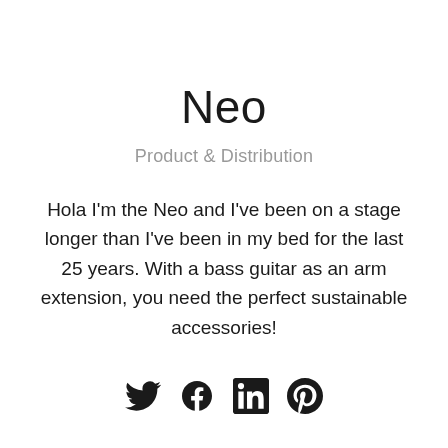Neo
Product & Distribution
Hola I'm the Neo and I've been on a stage longer than I've been in my bed for the last 25 years. With a bass guitar as an arm extension, you need the perfect sustainable accessories!
[Figure (infographic): Four social media icons: Twitter (bird), Facebook (f in circle), LinkedIn (in square), Pinterest (P in circle)]